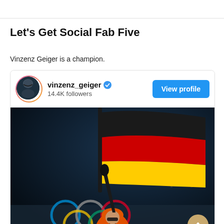Let's Get Social Fab Five
Vinzenz Geiger is a champion.
[Figure (screenshot): Instagram-style social media profile card for vinzenz_geiger with 14.4K followers, a verified badge, a 'View profile' button, and a photo of an athlete waving a German flag in front of the Olympic rings]